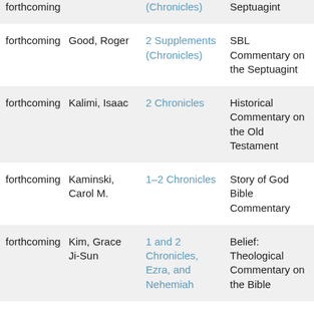| forthcoming |  | (Chronicles) | Septuagint |
| forthcoming | Good, Roger | 2 Supplements (Chronicles) | SBL Commentary on the Septuagint |
| forthcoming | Kalimi, Isaac | 2 Chronicles | Historical Commentary on the Old Testament |
| forthcoming | Kaminski, Carol M. | 1–2 Chronicles | Story of God Bible Commentary |
| forthcoming | Kim, Grace Ji-Sun | 1 and 2 Chronicles, Ezra, and Nehemiah | Belief: Theological Commentary on the Bible |